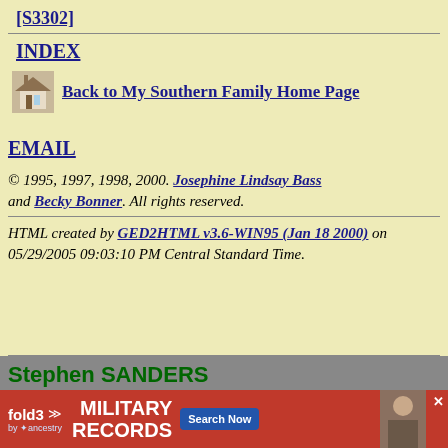[S3302]
INDEX
Back to My Southern Family Home Page
EMAIL
© 1995, 1997, 1998, 2000. Josephine Lindsay Bass and Becky Bonner. All rights reserved.
HTML created by GED2HTML v3.6-WIN95 (Jan 18 2000) on 05/29/2005 09:03:10 PM Central Standard Time.
Stephen SANDERS
[Figure (infographic): fold3 MILITARY RECORDS advertisement banner with Search Now button]